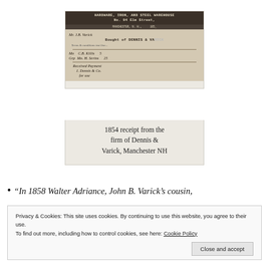[Figure (photo): Photograph of an 1854 handwritten receipt from the firm of Dennis & Varick, Manchester NH. The receipt shows printed letterhead for hardware, iron, and steel warehouse at No. 94 Elm Street, with handwritten cursive entries below.]
1854 receipt from the firm of Dennis & Varick, Manchester NH
“In 1858 Walter Adriance, John B. Varick’s cousin,
Privacy & Cookies: This site uses cookies. By continuing to use this website, you agree to their use.
To find out more, including how to control cookies, see here: Cookie Policy
Close and accept